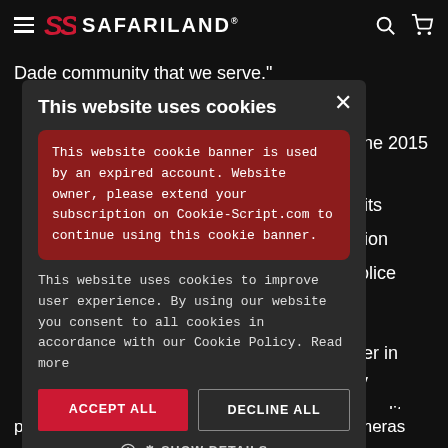SAFARILAND
Dade community that we serve."
[Figure (screenshot): Cookie consent modal dialog on Safariland website. Contains title 'This website uses cookies', an expired account warning box in red, cookie description text, Accept All and Decline All buttons, and Show Details option.]
leader in body high-quality curity, rs. Built on police experience, VIEVU body worn video cameras